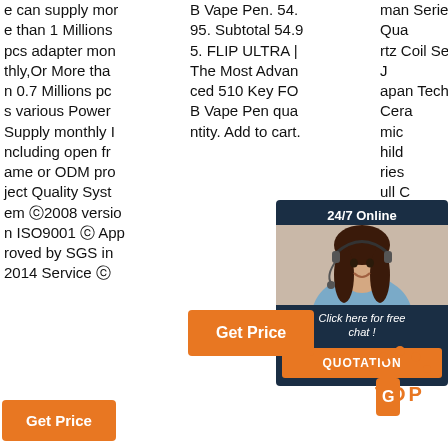e can supply more than 1 Millions pcs adapter monthly,Or More than 0.7 Millions pcs various Power Supply monthly Including open frame or ODM project Quality System ⓒ2008 version ISO9001 ⓒ Approved by SGS in 2014 Service ⓒ
B Vape Pen. 54.95. Subtotal 54.95. FLIP ULTRA | The Most Advanced 510 Key FOB Vape Pen quantity. Add to cart.
man Series, Quartz Coil Series, Japan Tech Ceramic hild ries ull C ...
[Figure (screenshot): 24/7 Online chat widget with woman wearing headset, dark blue background, 'Click here for free chat!' text, and orange QUOTATION button]
Get Price
G
Get Price
[Figure (illustration): Orange dotted arc above orange TOp text forming a 'back to top' button]